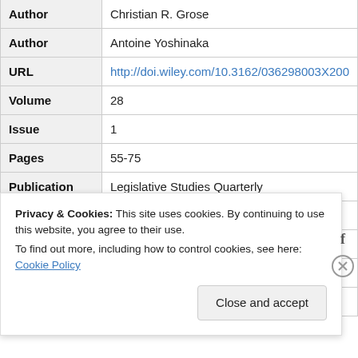| Field | Value |
| --- | --- |
| Author | Christian R. Grose |
| Author | Antoine Yoshinaka |
| URL | http://doi.wiley.com/10.3162/036298003X200809 |
| Volume | 28 |
| Issue | 1 |
| Pages | 55-75 |
| Publication | Legislative Studies Quarterly |
| ISSN | 03629805 |
| Date | 02/2003 |
| DOI | 10.3162/036298003X200809 |
| Library | CrossRef |
Privacy & Cookies: This site uses cookies. By continuing to use this website, you agree to their use. To find out more, including how to control cookies, see here: Cookie Policy